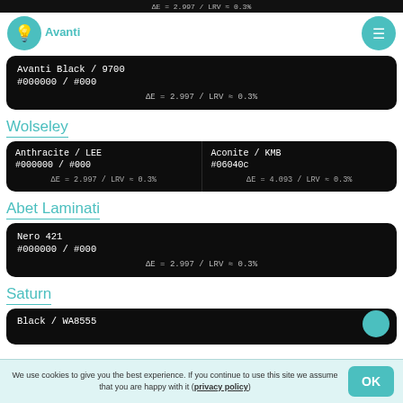ΔE = 2.997 / LRV ≈ 0.3%
Avanti
Avanti Black / 9700
#000000 / #000
ΔE = 2.997 / LRV ≈ 0.3%
Wolseley
Anthracite / LEE
#000000 / #000
ΔE = 2.997 / LRV ≈ 0.3%
Aconite / KMB
#06040c
ΔE = 4.093 / LRV ≈ 0.3%
Abet Laminati
Nero 421
#000000 / #000
ΔE = 2.997 / LRV ≈ 0.3%
Saturn
Black / WA8555
We use cookies to give you the best experience. If you continue to use this site we assume that you are happy with it (privacy policy)